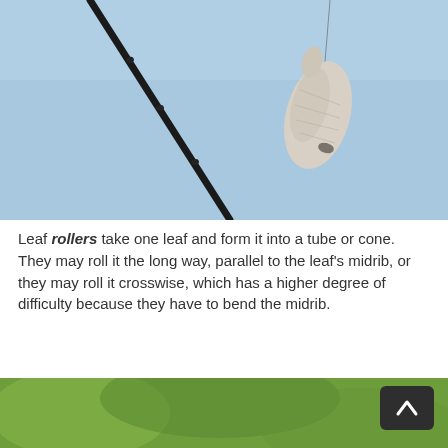[Figure (photo): Close-up photo of a dark twig/branch against a light blue sky, with a white papery cocoon or leaf-roller case hanging from a thread near the upper right.]
Leaf rollers take one leaf and form it into a tube or cone. They may roll it the long way, parallel to the leaf's midrib, or they may roll it crosswise, which has a higher degree of difficulty because they have to bend the midrib.
[Figure (photo): Partial photo at the bottom of the page showing a blurred green natural background, with a dark rounded back-to-top button in the lower right corner.]